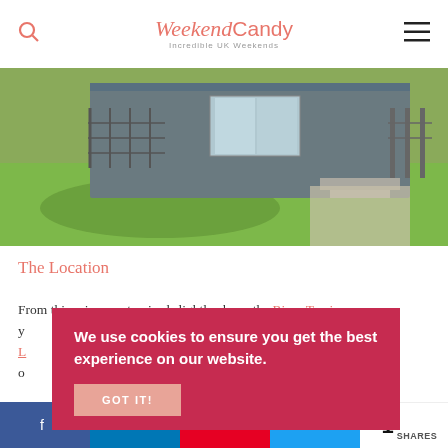Weekend Candy — Incredible UK Weekends
[Figure (photo): Exterior view of a modern grey holiday lodge/cabin with large windows, metal railing, and a green lawn in the foreground.]
The Location
From this prime spot, raised slightly above the River Tywi, you can enjoy stunning views of the sweeping bends of Llansteffan... [obscured by cookie banner] ...the valley of Llansteffan
We use cookies to ensure you get the best experience on our website.
GOT IT!
Share buttons: Facebook, LinkedIn, Pinterest, Twitter | 1 SHARES